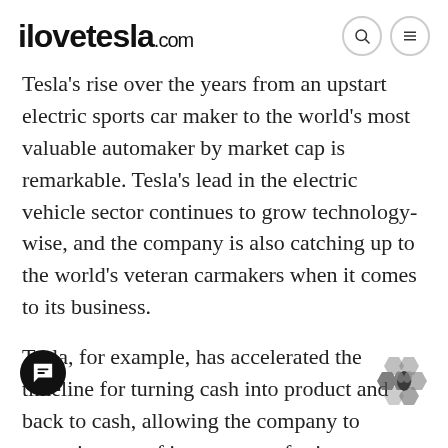ilovetesla.com
Tesla's rise over the years from an upstart electric sports car maker to the world's most valuable automaker by market cap is remarkable. Tesla's lead in the electric vehicle sector continues to grow technology-wise, and the company is also catching up to the world's veteran carmakers when it comes to its business.
Tesla, for example, has accelerated the timeline for turning cash into product and back to cash, allowing the company to commit more of its resources for investments in its upcoming